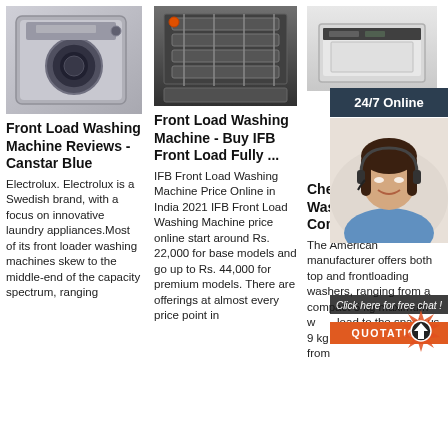[Figure (photo): Front-loading washing machine, silver/grey color on grey background]
Front Load Washing Machine Reviews - Canstar Blue
Electrolux. Electrolux is a Swedish brand, with a focus on innovative laundry appliances.Most of its front loader washing machines skew to the middle-end of the capacity spectrum, ranging
[Figure (photo): Industrial washing machine interior or mechanical parts, dark background]
Front Load Washing Machine - Buy IFB Front Load Fully ...
IFB Front Load Washing Machine Price Online in India 2021 IFB Front Load Washing Machine price online start around Rs. 22,000 for base models and go up to Rs. 44,000 for premium models. There are offerings at almost every price point in
[Figure (photo): Built-in oven or dishwasher appliance, stainless steel, white background]
[Figure (photo): Customer service agent woman with headset, smiling, blue shirt]
Cheap Whirlpool Washing Machine Comparison Prices
The American manufacturer offers both top and frontloading washers, ranging from a compact 5 kg maximum wash load to the spacious 9 kg wash models. Aside from